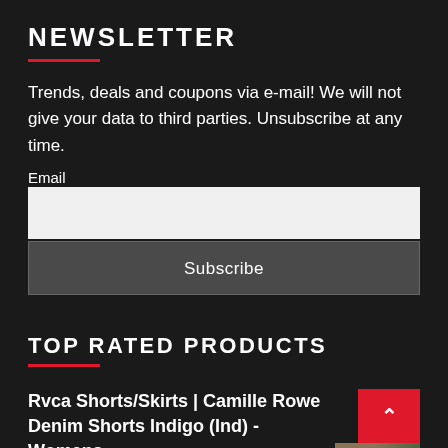NEWSLETTER
Trends, deals and coupons via e-mail! We will not give your data to third parties. Unsubscribe at any time.
Email
[Figure (other): Email input text field (white/light background)]
Subscribe
TOP RATED PRODUCTS
Rvca Shorts/Skirts | Camille Rowe Denim Shorts Indigo (Ind) - Womens
$ 94.00 $ 53.00